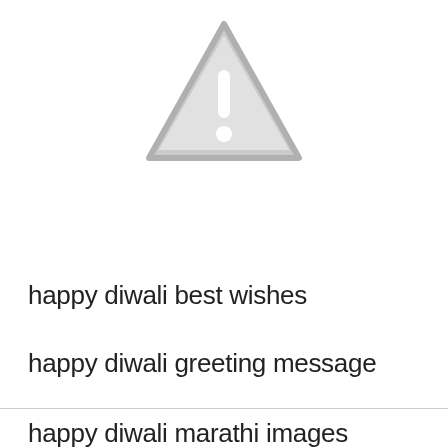[Figure (illustration): Gray warning triangle icon with exclamation mark, indicating a missing or broken image placeholder]
happy diwali best wishes
happy diwali greeting message
happy diwali marathi images